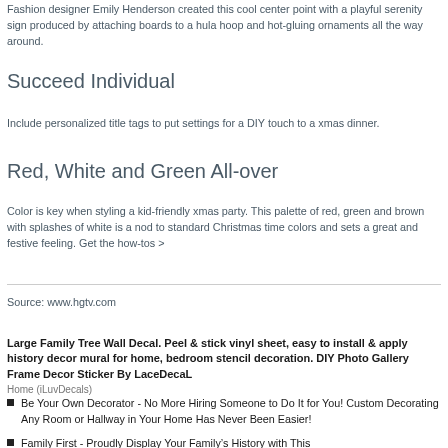Fashion designer Emily Henderson created this cool center point with a playful serenity sign produced by attaching boards to a hula hoop and hot-gluing ornaments all the way around.
Succeed Individual
Include personalized title tags to put settings for a DIY touch to a xmas dinner.
Red, White and Green All-over
Color is key when styling a kid-friendly xmas party. This palette of red, green and brown with splashes of white is a nod to standard Christmas time colors and sets a great and festive feeling. Get the how-tos >
Source: www.hgtv.com
Large Family Tree Wall Decal. Peel & stick vinyl sheet, easy to install & apply history decor mural for home, bedroom stencil decoration. DIY Photo Gallery Frame Decor Sticker By LaceDecaL
Home (iLuvDecals)
Be Your Own Decorator - No More Hiring Someone to Do It for You! Custom Decorating Any Room or Hallway in Your Home Has Never Been Easier!
Family First - Proudly Display Your Family's History with This